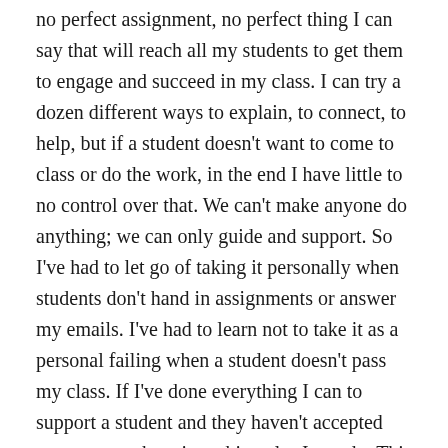no perfect assignment, no perfect thing I can say that will reach all my students to get them to engage and succeed in my class. I can try a dozen different ways to explain, to connect, to help, but if a student doesn't want to come to class or do the work, in the end I have little to no control over that. We can't make anyone do anything; we can only guide and support. So I've had to let go of taking it personally when students don't hand in assignments or answer my emails. I've had to learn not to take it as a personal failing when a student doesn't pass my class. If I've done everything I can to support a student and they haven't accepted my support, there is nothing else I can do. This continues to be the most frustrating and disappointing aspect of teaching, but I'm learning to live with it and focus on the vast majority of students that do see the value in the course and want to learn.